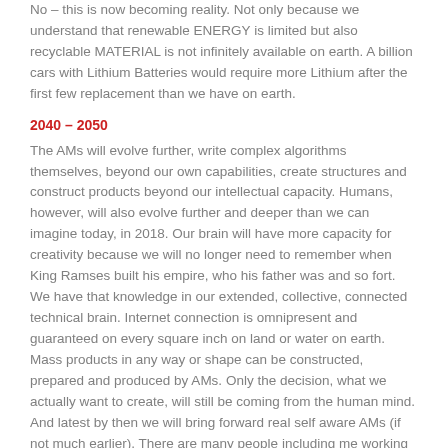No – this is now becoming reality. Not only because we understand that renewable ENERGY is limited but also recyclable MATERIAL is not infinitely available on earth. A billion cars with Lithium Batteries would require more Lithium after the first few replacement than we have on earth.
2040 – 2050
The AMs will evolve further, write complex algorithms themselves, beyond our own capabilities, create structures and construct products beyond our intellectual capacity. Humans, however, will also evolve further and deeper than we can imagine today, in 2018. Our brain will have more capacity for creativity because we will no longer need to remember when King Ramses built his empire, who his father was and so fort. We have that knowledge in our extended, collective, connected technical brain. Internet connection is omnipresent and guaranteed on every square inch on land or water on earth. Mass products in any way or shape can be constructed, prepared and produced by AMs. Only the decision, what we actually want to create, will still be coming from the human mind. And latest by then we will bring forward real self aware AMs (if not much earlier). There are many people including me working on self conscious AI concepts already. Yet even self